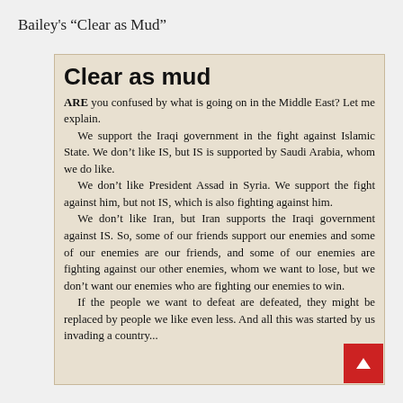Bailey's “Clear as Mud”
[Figure (photo): Newspaper clipping showing an article titled 'Clear as mud' with text about US foreign policy in the Middle East.]
Clear as mud
ARE you confused by what is going on in the Middle East? Let me explain.
	We support the Iraqi government in the fight against Islamic State. We don’t like IS, but IS is supported by Saudi Arabia, whom we do like.
	We don’t like President Assad in Syria. We support the fight against him, but not IS, which is also fighting against him.
	We don’t like Iran, but Iran supports the Iraqi government against IS. So, some of our friends support our enemies and some of our enemies are our friends, and some of our enemies are fighting against our other enemies, whom we want to lose, but we don’t want our enemies who are fighting our enemies to win.
	If the people we want to defeat are defeated, they might be replaced by people we like even less. And all this was started by us invading a country...